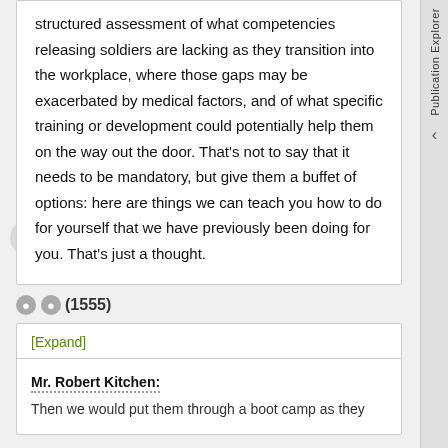structured assessment of what competencies releasing soldiers are lacking as they transition into the workplace, where those gaps may be exacerbated by medical factors, and of what specific training or development could potentially help them on the way out the door. That's not to say that it needs to be mandatory, but give them a buffet of options: here are things we can teach you how to do for yourself that we have previously been doing for you. That's just a thought.
(1555)
[Expand]
Mr. Robert Kitchen:
Then we would put them through a boot camp as they